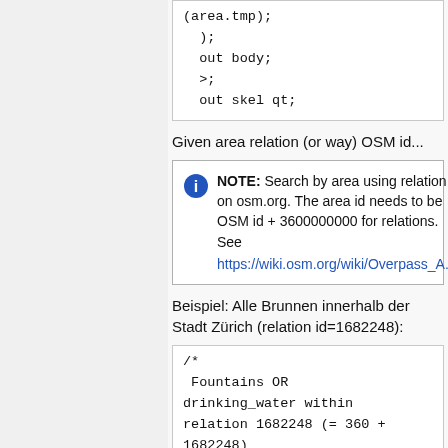(area.tmp);
  );
  out body;
  >;
  out skel qt;
Given area relation (or way) OSM id...
NOTE: Search by area using relation on osm.org. The area id needs to be OSM id + 3600000000 for relations. See https://wiki.osm.org/wiki/Overpass_A...
Beispiel: Alle Brunnen innerhalb der Stadt Zürich (relation id=1682248):
/*
 Fountains OR drinking_water within relation 1682248 (= 360 + 1682248)
 */